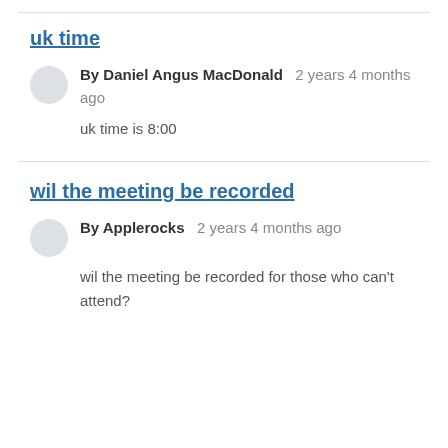uk time
By Daniel Angus MacDonald   2 years 4 months ago
uk time is 8:00
wil the meeting be recorded
By Applerocks   2 years 4 months ago
wil the meeting be recorded for those who can't attend?